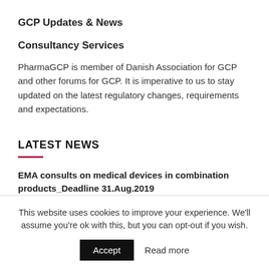GCP Updates & News
Consultancy Services
PharmaGCP is member of Danish Association for GCP and other forums for GCP. It is imperative to us to stay updated on the latest regulatory changes, requirements and expectations.
LATEST NEWS
EMA consults on medical devices in combination products_Deadline 31.Aug.2019
04 August, 2019
This website uses cookies to improve your experience. We'll assume you're ok with this, but you can opt-out if you wish.
Accept   Read more